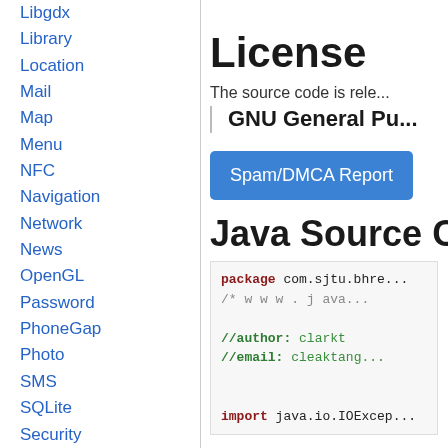Libgdx
Library
Location
Mail
Map
Menu
NFC
Navigation
Network
News
OpenGL
Password
PhoneGap
Photo
SMS
SQLite
Security
Sensor
Sound
Timer
Twitter
UI
License
The source code is rele...
GNU General Pu...
Spam/DMCA Report
Java Source C...
package com.sjtu.bhre...
/* w w w . j ava...
//author:    clarkt
//email:    cleaktang...
import java.io.IOExcep...